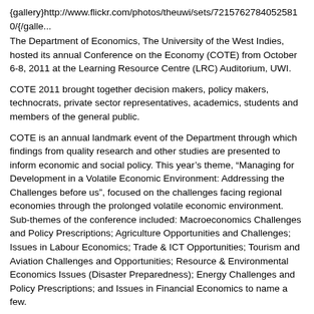{gallery}http://www.flickr.com/photos/theuwi/sets/72157627840525810/{/galle...
The Department of Economics, The University of the West Indies, hosted its annual Conference on the Economy (COTE) from October 6-8, 2011 at the Learning Resource Centre (LRC) Auditorium, UWI.
COTE 2011 brought together decision makers, policy makers, technocrats, private sector representatives, academics, students and members of the general public.
COTE is an annual landmark event of the Department through which findings from quality research and other studies are presented to inform economic and social policy. This year's theme, “Managing for Development in a Volatile Economic Environment: Addressing the Challenges before us”, focused on the challenges facing regional economies through the prolonged volatile economic environment. Sub-themes of the conference included: Macroeconomics Challenges and Policy Prescriptions; Agriculture Opportunities and Challenges; Issues in Labour Economics; Trade & ICT Opportunities; Tourism and Aviation Challenges and Opportunities; Resource & Environmental Economics Issues (Disaster Preparedness); Energy Challenges and Policy Prescriptions; and Issues in Financial Economics to name a few.
This year's conference, paid tribute to Dr. Eric St. Cyr, former Lecturer and Head of the Department of Economics, UWI. Dr. St. Cyr’s contribution to...